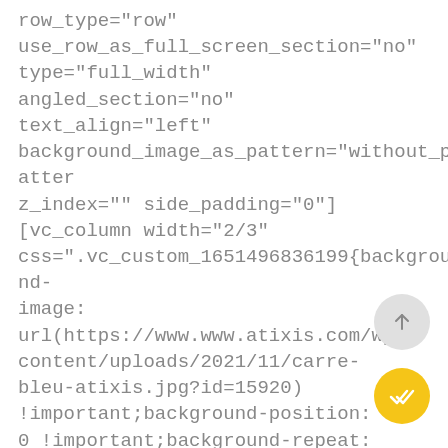row_type="row"
use_row_as_full_screen_section="no"
type="full_width"
angled_section="no"
text_align="left"
background_image_as_pattern="without_pattern"
z_index="" side_padding="0"]
[vc_column width="2/3"
css=".vc_custom_1651496836199{background-image:
url(https://www.www.atixis.com/wp-content/uploads/2021/11/carre-bleu-atixis.jpg?id=15920)
!important;background-position: 0
0 !important;background-repeat:
no-repeat !important;}"
offset="vc_col-lg-8 vc_col-md-12
vc_col-xs-12"][vc_gallery
[Figure (other): Scroll-up circular button with upward arrow icon]
[Figure (other): Yellow circular checkmark/double-checkmark button]